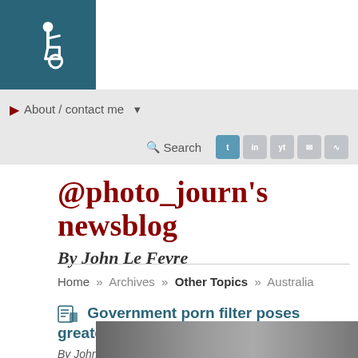[Figure (logo): Accessibility wheelchair icon on dark teal background]
About / contact me
Search
@photo_journ's newsblog
By John Le Fevre
Home » Archives » Other Topics » Australia
Government porn filter poses greater risks (video)
By John Le Fevre on January 6, 2008
[Figure (photo): Thumbnail image at bottom of page]